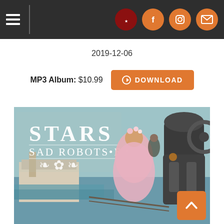Navigation header with hamburger menu and social icons (Facebook, Instagram, Email)
2019-12-06
MP3 Album: $10.99  DOWNLOAD
[Figure (photo): Album cover art for 'Stars - Sad Robots EP'. Shows a vintage-style illustration of a woman in a pink Victorian dress with flowers in her hair standing near an iron robot/machine, overlooking a city with a grand white building near water. Text overlay reads 'STARS SAD ROBOTS•EP' in white decorative lettering.]